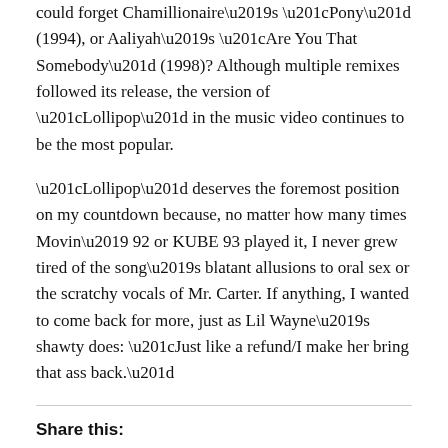could forget Chamillionaire's "Pony" (1994), or Aaliyah's "Are You That Somebody" (1998)? Although multiple remixes followed its release, the version of "Lollipop" in the music video continues to be the most popular.
"Lollipop" deserves the foremost position on my countdown because, no matter how many times Movin' 92 or KUBE 93 played it, I never grew tired of the song's blatant allusions to oral sex or the scratchy vocals of Mr. Carter. If anything, I wanted to come back for more, just as Lil Wayne's shawty does: "Just like a refund/I make her bring that ass back."
Share this: